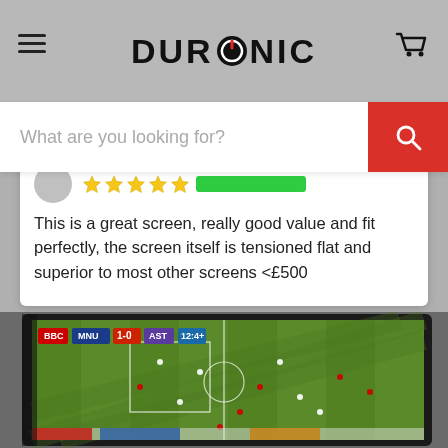DURONIC
What are you looking for?
This is a great screen, really good value and fit perfectly, the screen itself is tensioned flat and superior to most other screens <£500
[Figure (photo): Photo of a large flat-screen TV mounted on a wall showing a football match on BBC. The score shows MNU 1-0 AST at 12:4? minutes.]